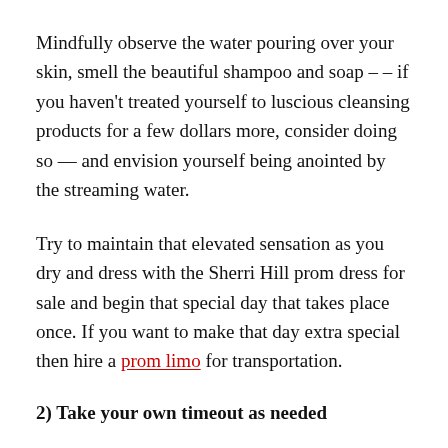Mindfully observe the water pouring over your skin, smell the beautiful shampoo and soap – – if you haven't treated yourself to luscious cleansing products for a few dollars more, consider doing so — and envision yourself being anointed by the streaming water.
Try to maintain that elevated sensation as you dry and dress with the Sherri Hill prom dress for sale and begin that special day that takes place once. If you want to make that day extra special then hire a prom limo for transportation.
2) Take your own timeout as needed